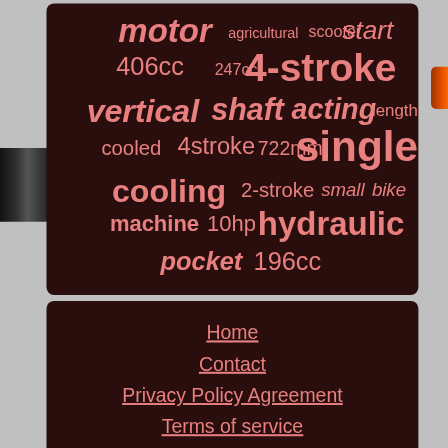[Figure (infographic): Word cloud on dark brown background featuring engine/motor related terms in varying sizes and weights: motor, agricultural, scooter, start, 406cc, 247cc, 4-stroke, vertical, shaft, acting, length, cooled, 4stroke, 722mm, single, cooling, 2-stroke, small, bike, machine, 10hp, hydraulic, pocket, 196cc]
Home
Contact
Privacy Policy Agreement
Terms of service